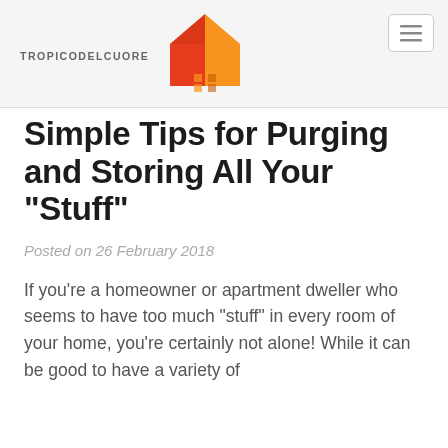[Figure (logo): Tropicodelcuore logo with orange/red house icon and site name text]
Simple Tips for Purging and Storing All Your "Stuff"
Posted on 26 February 2018
If you're a homeowner or apartment dweller who seems to have too much "stuff" in every room of your home, you're certainly not alone! While it can be good to have a variety of